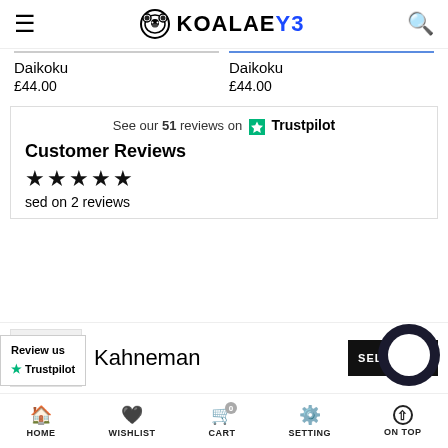KOALAEYE
Daikoku £44.00
Daikoku £44.00
[Figure (screenshot): Trustpilot widget showing: See our 51 reviews on Trustpilot]
Customer Reviews
Based on 2 reviews
[Figure (infographic): Review us on Trustpilot badge]
Kahneman
HOME WISHLIST CART SETTING ON TOP